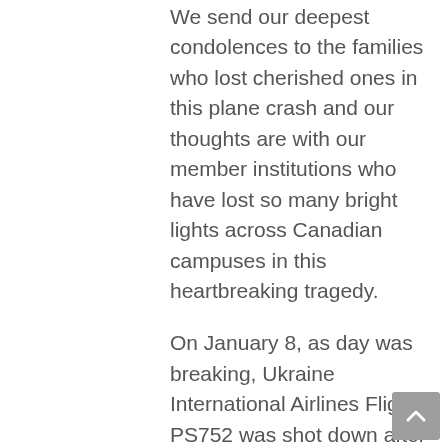We send our deepest condolences to the families who lost cherished ones in this plane crash and our thoughts are with our member institutions who have lost so many bright lights across Canadian campuses in this heartbreaking tragedy.
On January 8, as day was breaking, Ukraine International Airlines Flight PS752 was shot down after taking off from Tehran's Imam Khomeini airport. All 176 passengers were killed including 138 who were bound for Canada.